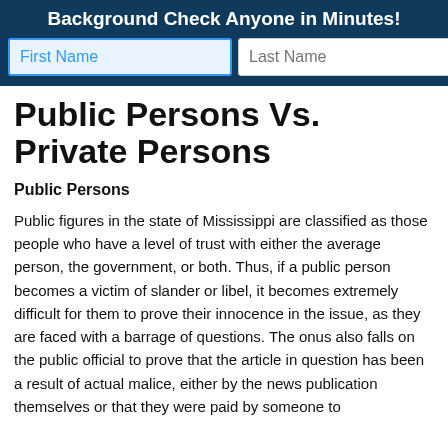Background Check Anyone in Minutes!
Public Persons Vs. Private Persons
Public Persons
Public figures in the state of Mississippi are classified as those people who have a level of trust with either the average person, the government, or both. Thus, if a public person becomes a victim of slander or libel, it becomes extremely difficult for them to prove their innocence in the issue, as they are faced with a barrage of questions. The onus also falls on the public official to prove that the article in question has been a result of actual malice, either by the news publication themselves or that they were paid by someone to